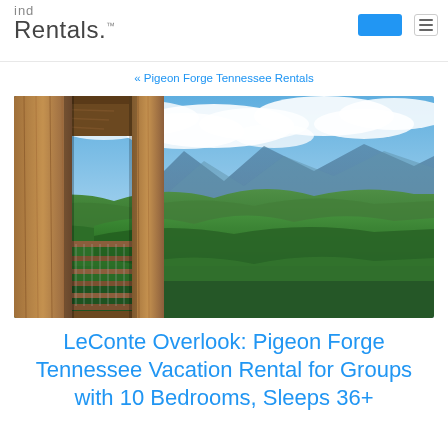Find Rentals
« Pigeon Forge Tennessee Rentals
[Figure (photo): View from a wooden cabin deck/balcony overlooking a vast forested mountain landscape with blue sky and clouds. The Great Smoky Mountains are visible in the background with lush green forest in the foreground.]
LeConte Overlook: Pigeon Forge Tennessee Vacation Rental for Groups with 10 Bedrooms, Sleeps 36+